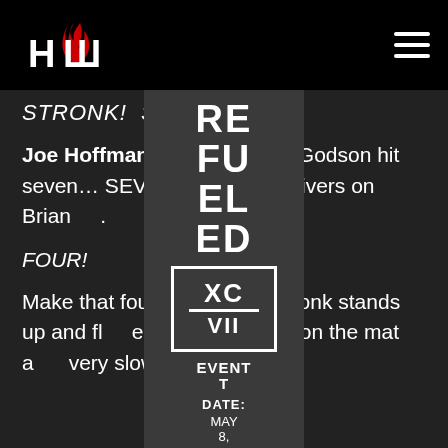[Figure (logo): HOW wrestling logo with flame icon, white text on black background]
STRONK! STRO... NK!
Joe Hoffman: L... Stronk Godson hit seven... SEVE... backdrop drivers on Brian...
FOUR!
[Figure (infographic): Dropdown navigation menu overlay showing: REFUELED in large bold white text, XCVII box logo, EVENT DATE: MAY 8, 2022]
Make that four b... rivers. Stronk stands up and fl... e fans. MDM lies on the mat a... very slowly.